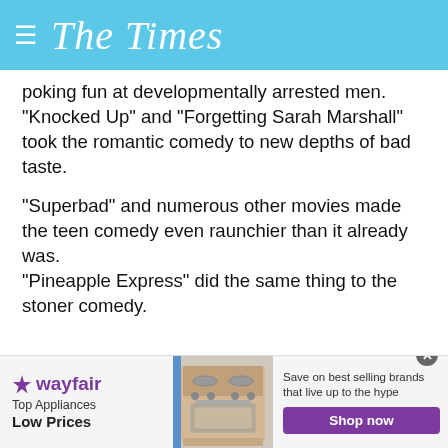The Times
poking fun at developmentally arrested men. "Knocked Up" and "Forgetting Sarah Marshall" took the romantic comedy to new depths of bad taste.
"Superbad" and numerous other movies made the teen comedy even raunchier than it already was. "Pineapple Express" did the same thing to the stoner comedy.
Many other films have taken the same strategy. A lot of them, like those listed above, are very funny. Many more, though, are terrible.
[Figure (screenshot): Wayfair advertisement banner: Top Appliances Low Prices with stove image and Shop now button]